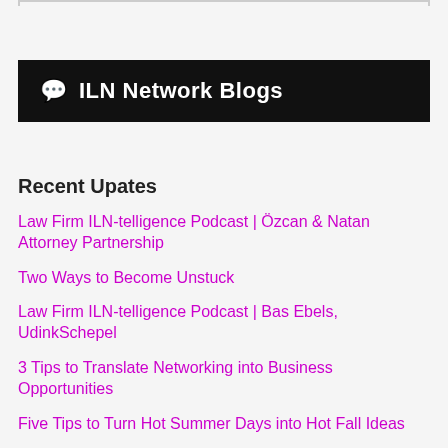ILN Network Blogs
Recent Upates
Law Firm ILN-telligence Podcast | Özcan & Natan Attorney Partnership
Two Ways to Become Unstuck
Law Firm ILN-telligence Podcast | Bas Ebels, UdinkSchepel
3 Tips to Translate Networking into Business Opportunities
Five Tips to Turn Hot Summer Days into Hot Fall Ideas